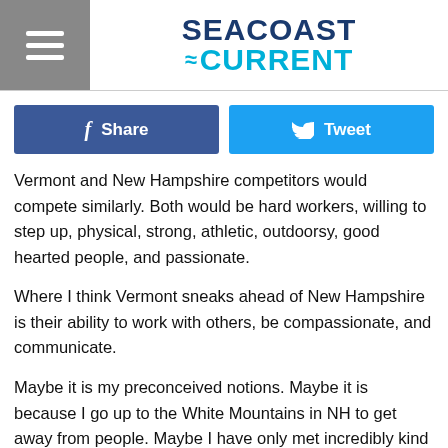SEACOAST CURRENT
[Figure (screenshot): Facebook Share button and Twitter Tweet button side by side]
Vermont and New Hampshire competitors would compete similarly. Both would be hard workers, willing to step up, physical, strong, athletic, outdoorsy, good hearted people, and passionate.
Where I think Vermont sneaks ahead of New Hampshire is their ability to work with others, be compassionate, and communicate.
Maybe it is my preconceived notions. Maybe it is because I go up to the White Mountains in NH to get away from people. Maybe I have only met incredibly kind and well-rounded people from VT. Maybe it is because of Bernie